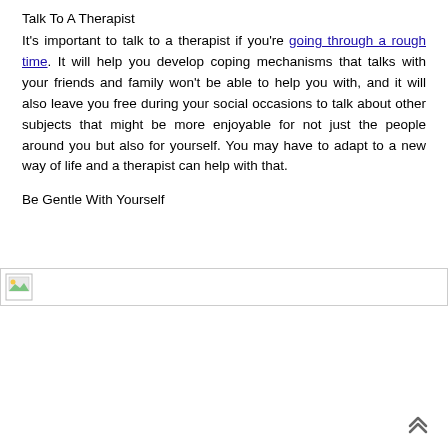Talk To A Therapist
It's important to talk to a therapist if you're going through a rough time. It will help you develop coping mechanisms that talks with your friends and family won't be able to help you with, and it will also leave you free during your social occasions to talk about other subjects that might be more enjoyable for not just the people around you but also for yourself. You may have to adapt to a new way of life and a therapist can help with that.
Be Gentle With Yourself
[Figure (photo): Broken image placeholder with small image icon in top-left corner]